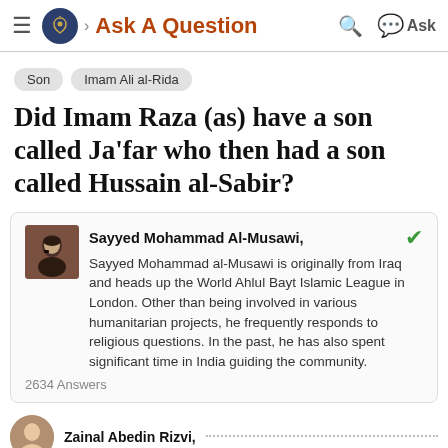Ask A Question
Son
Imam Ali al-Rida
Did Imam Raza (as) have a son called Ja'far who then had a son called Hussain al-Sabir?
Sayyed Mohammad Al-Musawi, Sayyed Mohammad al-Musawi is originally from Iraq and heads up the World Ahlul Bayt Islamic League in London. Other than being involved in various humanitarian projects, he frequently responds to religious questions. In the past, he has also spent significant time in India guiding the community.
2634 Answers